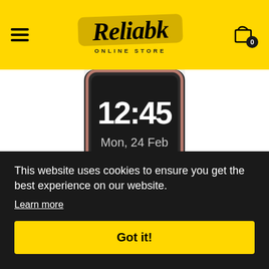Reliable Online Store
[Figure (photo): Smartwatch screen showing time 12:45 and date Mon, 24 Feb]
This website uses cookies to ensure you get the best experience on our website.
Learn more
Got it!